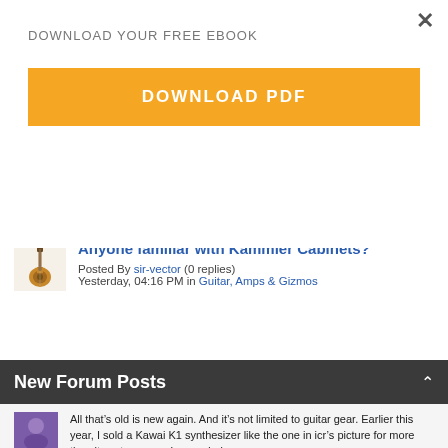DOWNLOAD YOUR FREE EBOOK
DOWNLOAD PDF
[PSA] Gibson Howard Roberts Fusion Good Price
Posted By Spook410 (1 replies)
Yesterday, 04:44 PM in For Sale
Anyone familiar with Kammler Cabinets?
Posted By sir-vector (0 replies)
Yesterday, 04:16 PM in Guitar, Amps & Gizmos
New Forum Posts
All that’s old is new again. And it’s not limited to guitar gear. Earlier this year, I sold a Kawai K1 synthesizer like the one in icr’s picture for more than it cost me new. I upgraded my